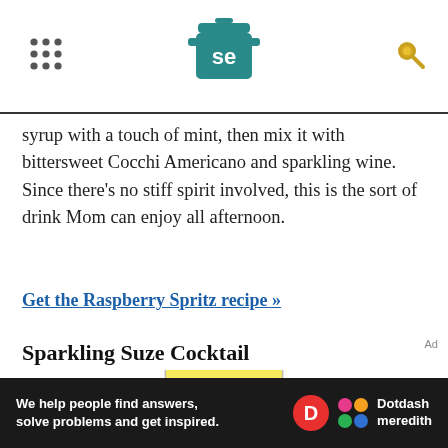Serious Eats logo header with navigation grid and search icon
syrup with a touch of mint, then mix it with bittersweet Cocchi Americano and sparkling wine. Since there's no stiff spirit involved, this is the sort of drink Mom can enjoy all afternoon.
Get the Raspberry Spritz recipe »
Sparkling Suze Cocktail
[Figure (photo): A glass of bright yellow Sparkling Suze Cocktail with citrus peel garnish, photographed on white background]
We help people find answers, solve problems and get inspired. Dotdash meredith